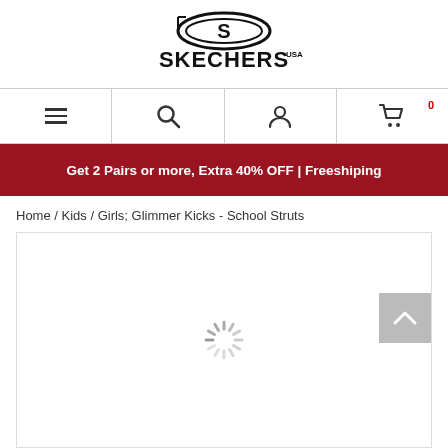[Figure (logo): Skechers USA logo with S emblem and SKECHERS USA text in bold black]
[Figure (screenshot): Navigation bar with hamburger menu, search icon, user/account icon, and shopping cart icon with red 0 badge]
Get 2 Pairs or more, Extra 40% OFF | Freeshiping
Home / Kids / Girls; Glimmer Kicks - School Struts
[Figure (screenshot): Product image area showing a loading spinner, with scroll-to-top button on the right]